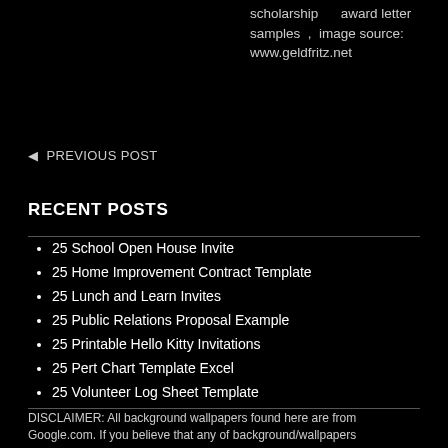scholarship award letter samples , image source: www.geldfritz.net
◄ PREVIOUS POST
RECENT POSTS
25 School Open House Invite
25 Home Improvement Contract Template
25 Lunch and Learn Invites
25 Public Relations Proposal Example
25 Printable Hello Kitty Invitations
25 Pert Chart Template Excel
25 Volunteer Log Sheet Template
DISCLAIMER: All background wallpapers found here are from Google.com. If you believe that any of background/wallpapers are your property and you don't want it to be displayed here, please let us know and it will be removed immediately.